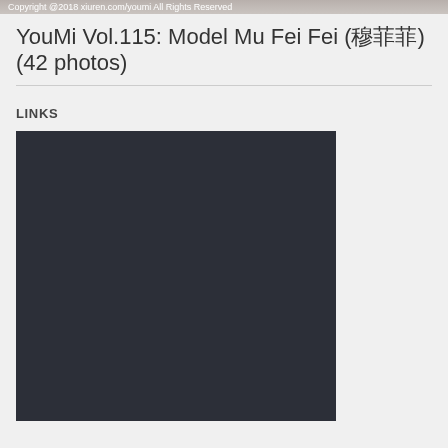Copyright @2018 xiuren.com/youmi All Rights Reserved
YouMi Vol.115: Model Mu Fei Fei (穆菲菲) (42 photos)
LINKS
[Figure (photo): Dark/black image placeholder box]